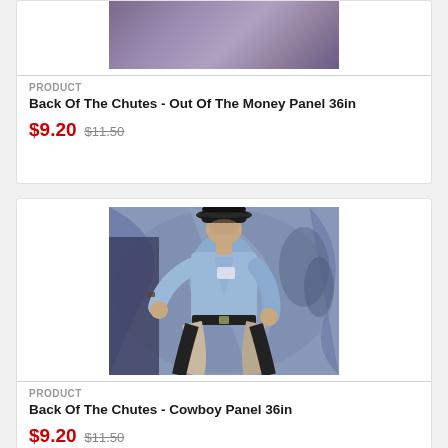[Figure (illustration): Painting of a rodeo scene - Back Of The Chutes Out Of The Money]
PRODUCT
Back Of The Chutes - Out Of The Money Panel 36in
$9.20 $11.50
[Figure (illustration): Painting of a cowboy in a blue shirt wearing a black hat, leaning at the chutes - Back Of The Chutes Cowboy Panel 36in]
PRODUCT
Back Of The Chutes - Cowboy Panel 36in
$9.20 $11.50